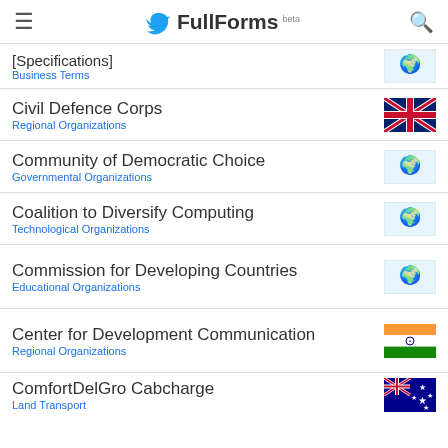FullForms (beta)
[Specifications] — Business Terms
Civil Defence Corps — Regional Organizations
Community of Democratic Choice — Governmental Organizations
Coalition to Diversify Computing — Technological Organizations
Commission for Developing Countries — Educational Organizations
Center for Development Communication — Regional Organizations
ComfortDelGro Cabcharge — Land Transport